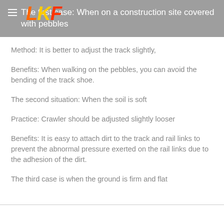The first case: When on a construction site covered with pebbles
Method: It is better to adjust the track slightly,
Benefits: When walking on the pebbles, you can avoid the bending of the track shoe.
The second situation: When the soil is soft
Practice: Crawler should be adjusted slightly looser
Benefits: It is easy to attach dirt to the track and rail links to prevent the abnormal pressure exerted on the rail links due to the adhesion of the dirt.
The third case is when the ground is firm and flat